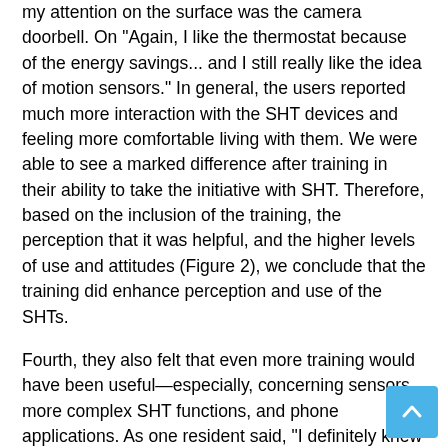my attention on the surface was the camera doorbell. On "Again, I like the thermostat because of the energy savings... and I still really like the idea of motion sensors." In general, the users reported much more interaction with the SHT devices and feeling more comfortable living with them. We were able to see a marked difference after training in their ability to take the initiative with SHT. Therefore, based on the inclusion of the training, the perception that it was helpful, and the higher levels of use and attitudes (Figure 2), we conclude that the training did enhance perception and use of the SHTs.
Fourth, they also felt that even more training would have been useful—especially, concerning sensors, more complex SHT functions, and phone applications. As one resident said, "I definitely knew a lot more after the training but I still didn't understand how to use a lot of the stuff like the sensors." In hindsight, it appears that although residents were much more capable than they had been with no training, even more training would have allowed them to move comfortably into